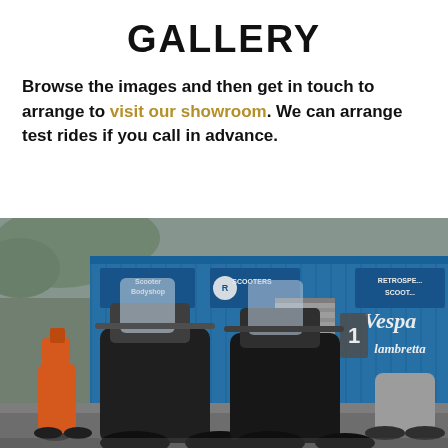GALLERY
Browse the images and then get in touch to arrange to visit our showroom. We can arrange test rides if you call in advance.
[Figure (photo): Exterior of a scooter showroom with two black motorcycles/scooters parked in the foreground, an orange scooter to the left, and additional scooters to the right. The building facade is blue with signage reading 'Scooter Bodyshop', 'SCOOTERS', 'RETROSPE... SCOOT...', 'Vespa', 'Lambretta', and a number '1'.]